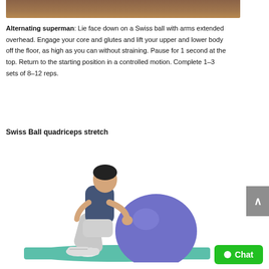[Figure (photo): Partial top image showing wooden surface/floor background]
Alternating superman: Lie face down on a Swiss ball with arms extended overhead. Engage your core and glutes and lift your upper and lower body off the floor, as high as you can without straining. Pause for 1 second at the top. Return to the starting position in a controlled motion. Complete 1–3 sets of 8–12 reps.
Swiss Ball quadriceps stretch
[Figure (photo): Person performing Swiss Ball quadriceps stretch exercise on a green mat with a purple/blue swiss ball]